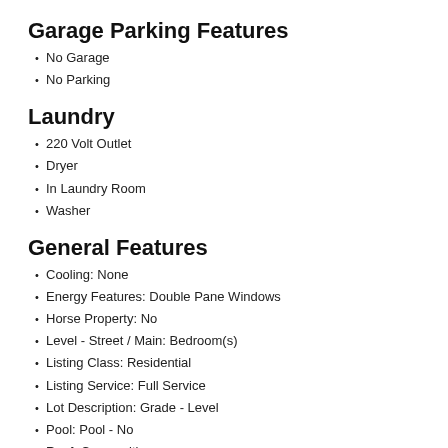Garage Parking Features
No Garage
No Parking
Laundry
220 Volt Outlet
Dryer
In Laundry Room
Washer
General Features
Cooling: None
Energy Features: Double Pane Windows
Horse Property: No
Level - Street / Main: Bedroom(s)
Listing Class: Residential
Listing Service: Full Service
Lot Description: Grade - Level
Pool: Pool - No
Roof: Composition
Subclass: Single Family Home
View: Local/Neighborhood